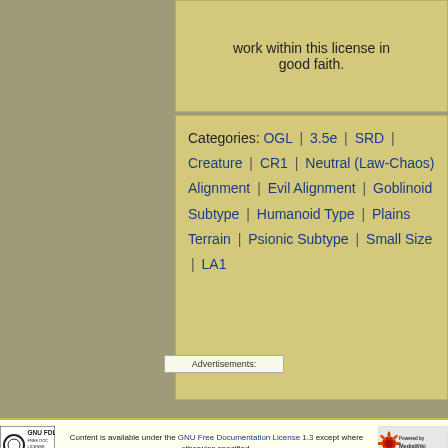work within this license in good faith.
Categories: OGL | 3.5e | SRD | Creature | CR1 | Neutral (Law-Chaos) Alignment | Evil Alignment | Goblinoid Subtype | Humanoid Type | Plains Terrain | Psionic Subtype | Small Size | LA1
Content is available under the GNU Free Documentation License 1.3 except where otherwise specified. Privacy policy  About D&D Wiki  Disclaimers
Advertisements: